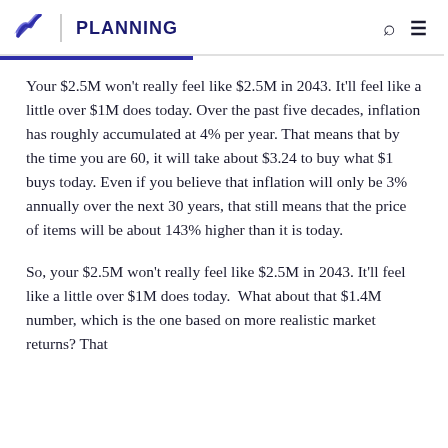PLANNING
Your $2.5M won't really feel like $2.5M in 2043. It'll feel like a little over $1M does today. Over the past five decades, inflation has roughly accumulated at 4% per year. That means that by the time you are 60, it will take about $3.24 to buy what $1 buys today. Even if you believe that inflation will only be 3% annually over the next 30 years, that still means that the price of items will be about 143% higher than it is today.
So, your $2.5M won't really feel like $2.5M in 2043. It'll feel like a little over $1M does today. What about that $1.4M number, which is the one based on more realistic market returns? That